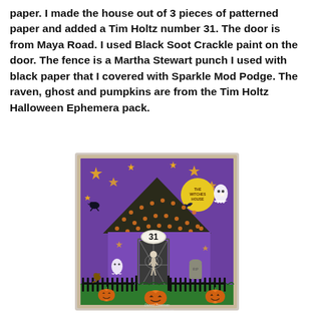paper. I made the house out of 3 pieces of patterned paper and added a Tim Holtz number 31. The door is from Maya Road. I used Black Soot Crackle paint on the door. The fence is a Martha Stewart punch I used with black paper that I covered with Sparkle Mod Podge. The raven, ghost and pumpkins are from the Tim Holtz Halloween Ephemera pack.
[Figure (photo): A Halloween-themed mixed media craft/scrapbook layout showing a haunted house made from patterned paper with a number 31 on the front, a dark door with crackle paint, a black fence, pumpkins, a ghost, a raven, stars on a purple background, and a yellow moon with 'The Witches House' text. A skeleton is visible in the doorway. Watermark reads 'Donna Bowman www.donnacraftjustice.com'.]